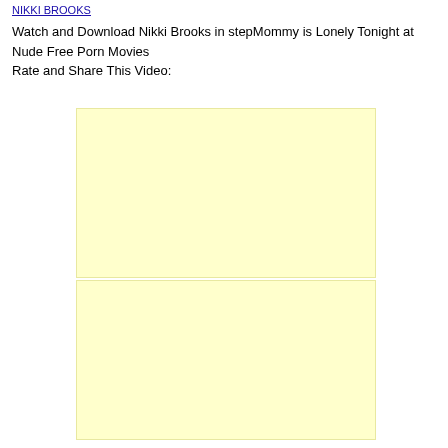NIKKI BROOKS
Watch and Download Nikki Brooks in stepMommy is Lonely Tonight at Nude Free Porn Movies
Rate and Share This Video:
[Figure (other): Yellow advertisement placeholder block (top)]
[Figure (other): Yellow advertisement placeholder block (bottom)]